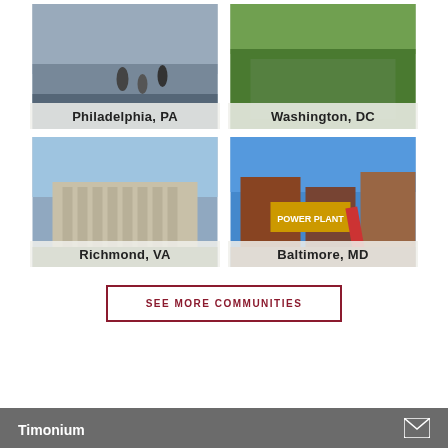[Figure (photo): Philadelphia, PA city street scene photo with semi-transparent label overlay]
[Figure (photo): Washington, DC green park/lawn scene photo with semi-transparent label overlay]
[Figure (photo): Richmond, VA classical building with columns photo with semi-transparent label overlay]
[Figure (photo): Baltimore, MD Power Plant entertainment venue photo with semi-transparent label overlay]
SEE MORE COMMUNITIES
Timonium